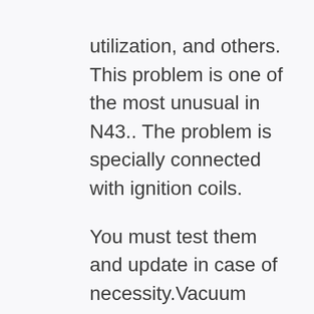utilization, and others. This problem is one of the most unusual in N43.. The problem is specially connected with ignition coils.

You must test them and update in case of necessity.Vacuum pump starts leaking after forty,000-50,000 miles (60,000-80,000 km) of mileage. The only way to solve this problem is to trade pump.Don't neglect to check conditions of your cooling device with a purpose to save you from overheating.N43 is instead demanding in terms of motor oil and its fine. Operating temperature of the engine is instead excessive.